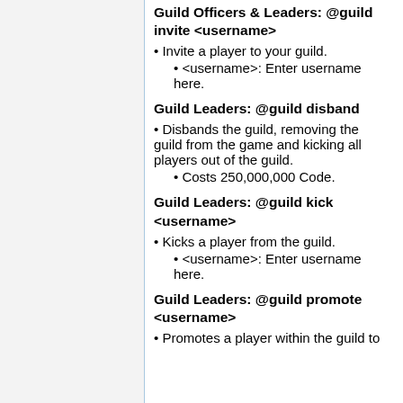Guild Officers & Leaders: @guild invite <username>
Invite a player to your guild.
<username>: Enter username here.
Guild Leaders: @guild disband
Disbands the guild, removing the guild from the game and kicking all players out of the guild.
Costs 250,000,000 Code.
Guild Leaders: @guild kick <username>
Kicks a player from the guild.
<username>: Enter username here.
Guild Leaders: @guild promote <username>
Promotes a player within the guild to...